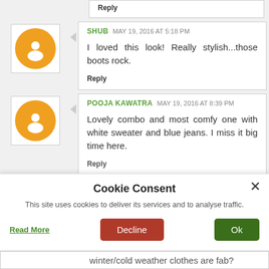Reply
SHUB  MAY 19, 2016 AT 5:18 PM
I loved this look! Really stylish...those boots rock.
Reply
POOJA KAWATRA  MAY 19, 2016 AT 8:39 PM
Lovely combo and most comfy one with white sweater and blue jeans. I miss it big time here.
Reply
Cookie Consent
This site uses cookies to deliver its services and to analyse traffic.
Read More  Decline  Ok
winter/cold weather clothes are fab?